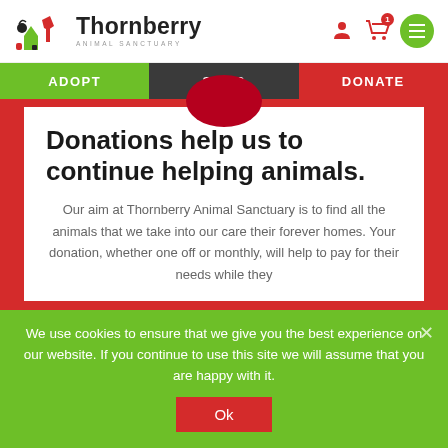Thornberry Animal Sanctuary
ADOPT | SHOP | DONATE
Donations help us to continue helping animals.
Our aim at Thornberry Animal Sanctuary is to find all the animals that we take into our care their forever homes. Your donation, whether one off or monthly, will help to pay for their needs while they
We use cookies to ensure that we give you the best experience on our website. If you continue to use this site we will assume that you are happy with it.
Ok